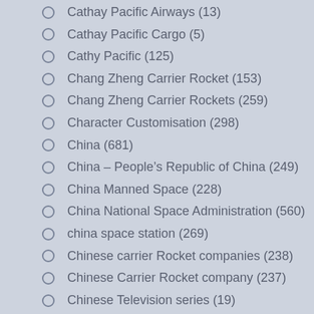Cathay Pacific Airways (13)
Cathay Pacific Cargo (5)
Cathy Pacific (125)
Chang Zheng Carrier Rocket (153)
Chang Zheng Carrier Rockets (259)
Character Customisation (298)
China (681)
China – People's Republic of China (249)
China Manned Space (228)
China National Space Administration (560)
china space station (269)
Chinese carrier Rocket companies (238)
Chinese Carrier Rocket company (237)
Chinese Television series (19)
Christmas (19)
Claire Farron (12)